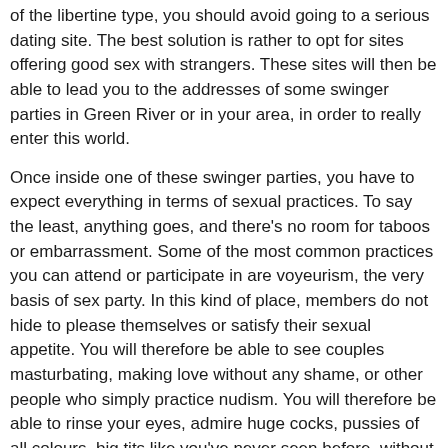of the libertine type, you should avoid going to a serious dating site. The best solution is rather to opt for sites offering good sex with strangers. These sites will then be able to lead you to the addresses of some swinger parties in Green River or in your area, in order to really enter this world.
Once inside one of these swinger parties, you have to expect everything in terms of sexual practices. To say the least, anything goes, and there's no room for taboos or embarrassment. Some of the most common practices you can attend or participate in are voyeurism, the very basis of sex party. In this kind of place, members do not hide to please themselves or satisfy their sexual appetite. You will therefore be able to see couples masturbating, making love without any shame, or other people who simply practice nudism. You will therefore be able to rinse your eyes, admire huge cocks, pussies of all colours, big tits like you've never seen before, without fear of disturbing anyone, because exhibitionists love to be the object of attention. You'll think you're in the middle of shooting a porn movie, except that the actors really get their kicks out of it.